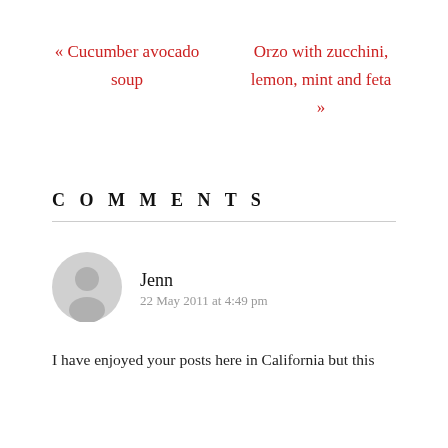« Cucumber avocado soup
Orzo with zucchini, lemon, mint and feta »
COMMENTS
Jenn
22 May 2011 at 4:49 pm
I have enjoyed your posts here in California but this